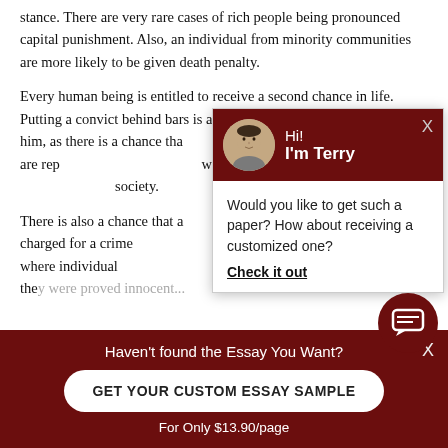stance. There are very rare cases of rich people being pronounced capital punishment. Also, an individual from minority communities are more likely to be given death penalty.
Every human being is entitled to receive a second chance in life. Putting a convict behind bars is always a logical option than killing him, as there is a chance that served life sentences are rep ways of living and have mad society.
There is also a chance that a wrongly charged for a crime been cases where individual death sentence, because they were proved innocent...
[Figure (screenshot): Chat popup with avatar of 'Terry', greeting 'Hi! I'm Terry', and message 'Would you like to get such a paper? How about receiving a customized one?' with a 'Check it out' link]
[Figure (infographic): Dark red bottom banner with text 'Haven't found the Essay You Want?', button 'GET YOUR CUSTOM ESSAY SAMPLE', and text 'For Only $13.90/page']